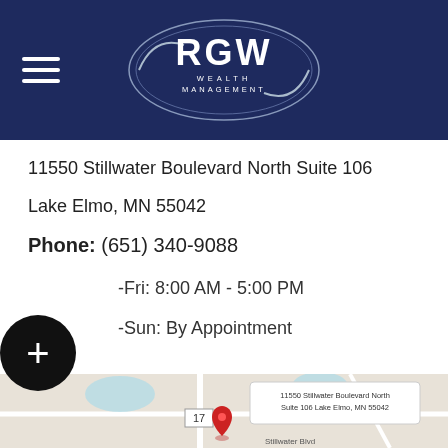[Figure (logo): RGW Wealth Management logo in white oval on dark navy header with hamburger menu icon on left]
11550 Stillwater Boulevard North Suite 106
Lake Elmo, MN 55042
Phone: (651) 340-9088
Mon-Fri: 8:00 AM - 5:00 PM
Sat-Sun: By Appointment
[Figure (map): Google Maps screenshot showing location pin at 11550 Stillwater Boulevard North Suite 106 Lake Elmo MN 55042, near Washington County Fairgrounds, with street labels including Stillwater Blvd, Stillwater Way N, Lake Elmo Ave N, and route 17]